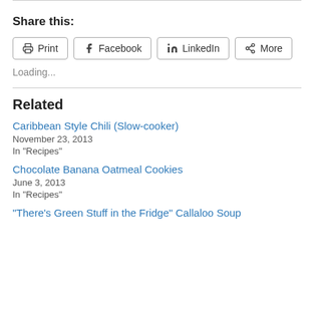Share this:
[Figure (other): Share buttons: Print, Facebook, LinkedIn, More]
Loading...
Related
Caribbean Style Chili (Slow-cooker)
November 23, 2013
In "Recipes"
Chocolate Banana Oatmeal Cookies
June 3, 2013
In "Recipes"
"There's Green Stuff in the Fridge" Callaloo Soup